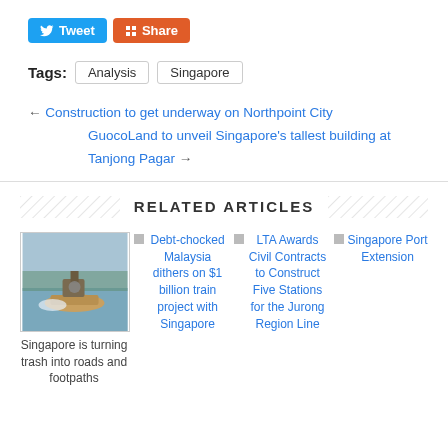[Figure (other): Social sharing buttons: Tweet (blue) and Share (orange)]
Tags: Analysis Singapore
← Construction to get underway on Northpoint City
GuocoLand to unveil Singapore's tallest building at Tanjong Pagar →
RELATED ARTICLES
[Figure (photo): Photo of a boat/dredging machine on water]
Singapore is turning trash into roads and footpaths
Debt-chocked Malaysia dithers on $1 billion train project with Singapore
LTA Awards Civil Contracts to Construct Five Stations for the Jurong Region Line
Singapore Port Extension